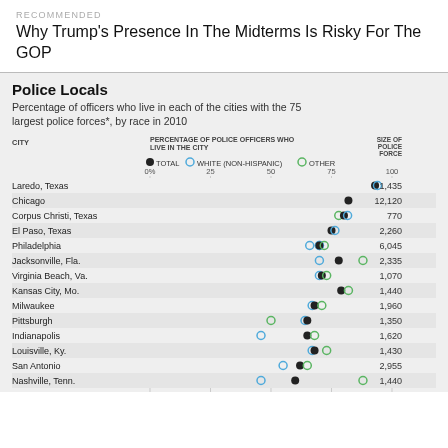RECOMMENDED
Why Trump's Presence In The Midterms Is Risky For The GOP
Police Locals
Percentage of officers who live in each of the cities with the 75 largest police forces*, by race in 2010
[Figure (scatter-plot): Police Locals]